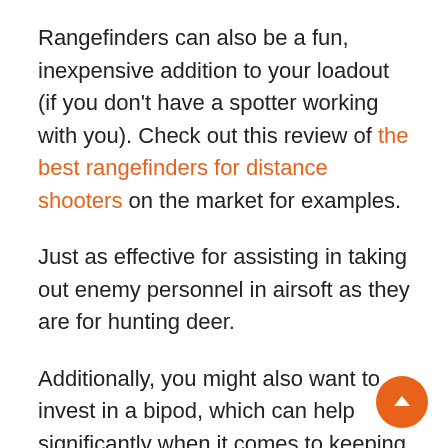Rangefinders can also be a fun, inexpensive addition to your loadout (if you don’t have a spotter working with you). Check out this review of the best rangefinders for distance shooters on the market for examples.
Just as effective for assisting in taking out enemy personnel in airsoft as they are for hunting deer.
Additionally, you might also want to invest in a bipod, which can help significantly when it comes to keeping a rock-steady hold on your weapon, and a more stable shooting platform in the field.